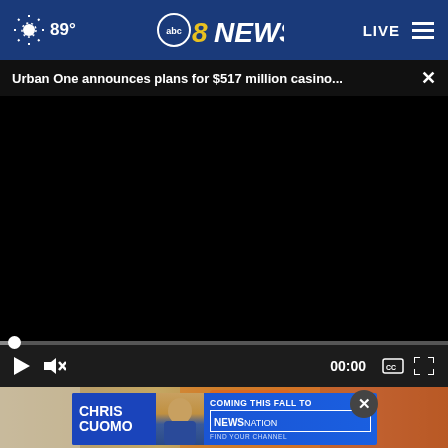89° abc8NEWS LIVE
Urban One announces plans for $517 million casino...
[Figure (screenshot): Black video player area with progress bar and playback controls showing 00:00 timestamp]
[Figure (photo): Bottom portion showing baking soda container and glass jar on kitchen counter]
[Figure (photo): Advertisement banner for Chris Cuomo Coming This Fall to NewsNation - Find Your Channel]